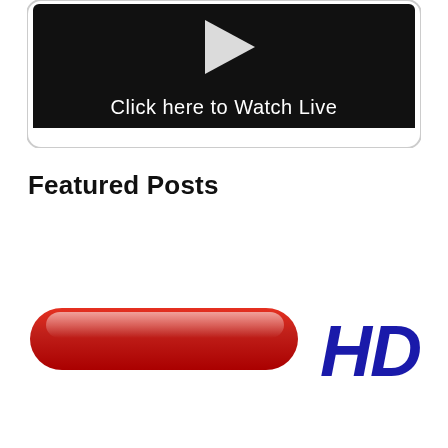[Figure (screenshot): A black video player thumbnail with a white play button triangle and text 'Click here to Watch Live' at the bottom, displayed inside a rounded rectangle frame on a white background]
Featured Posts
[Figure (logo): Partial logo showing a red rounded rectangle pill shape on the left and bold blue italic 'HD' text on the right, partially cropped at the bottom of the page]